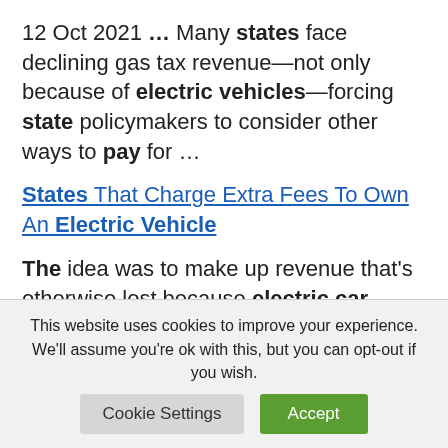12 Oct 2021 … Many states face declining gas tax revenue—not only because of electric vehicles—forcing state policymakers to consider other ways to pay for …
States That Charge Extra Fees To Own An Electric Vehicle
The idea was to make up revenue that's otherwise lost because electric car owners avoid paying the state
This website uses cookies to improve your experience. We'll assume you're ok with this, but you can opt-out if you wish.